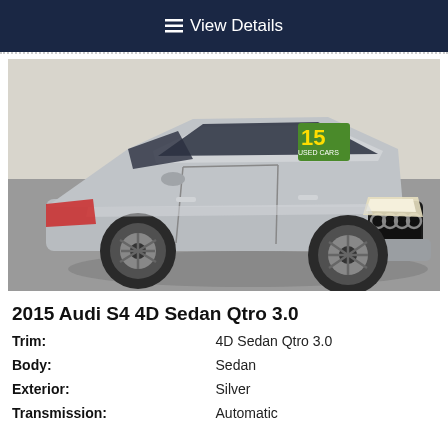View Details
[Figure (photo): Silver 2015 Audi S4 4D Sedan photographed from a front 3/4 angle in a dealership showroom with gray floor. The car has a price sticker visible on the windshield showing '15'.]
2015 Audi S4 4D Sedan Qtro 3.0
| Trim: | 4D Sedan Qtro 3.0 |
| Body: | Sedan |
| Exterior: | Silver |
| Transmission: | Automatic |